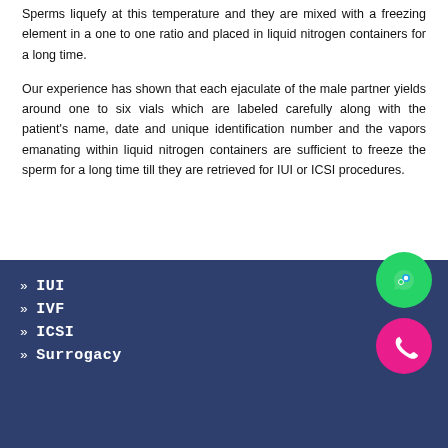Sperms liquefy at this temperature and they are mixed with a freezing element in a one to one ratio and placed in liquid nitrogen containers for a long time.
Our experience has shown that each ejaculate of the male partner yields around one to six vials which are labeled carefully along with the patient's name, date and unique identification number and the vapors emanating within liquid nitrogen containers are sufficient to freeze the sperm for a long time till they are retrieved for IUI or ICSI procedures.
» IUI
» IVF
» ICSI
» Surrogacy